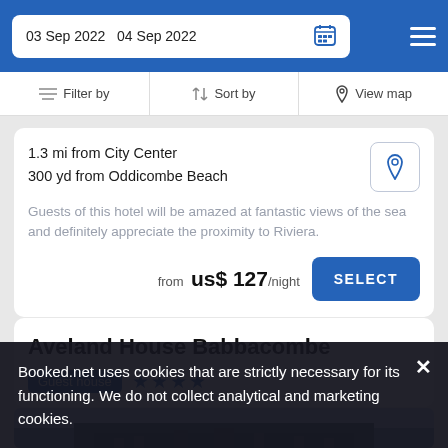03 Sep 2022   04 Sep 2022
Filter by   Sort by   View map
1.3 mi from City Center
300 yd from Oddicombe Beach
Guests of this hotel will be amazed at fantastic views of the sea and definitely appreciate the proximity to Riviera.
from  us$ 127/night
Aveland House Babbacombe
Guest house  ★★★★
Booked.net uses cookies that are strictly necessary for its functioning. We do not collect analytical and marketing cookies.